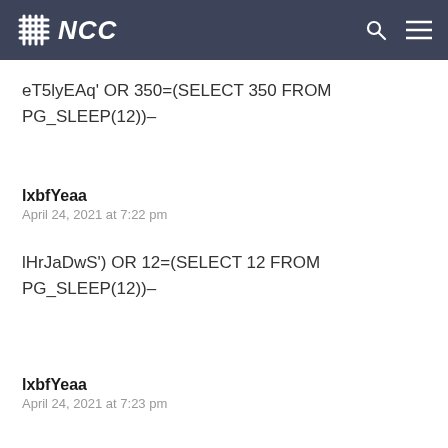NCC
eT5lyEAq' OR 350=(SELECT 350 FROM PG_SLEEP(12))–
lxbfYeaa
April 24, 2021 at 7:22 pm
lHrJaDwS') OR 12=(SELECT 12 FROM PG_SLEEP(12))–
lxbfYeaa
April 24, 2021 at 7:23 pm